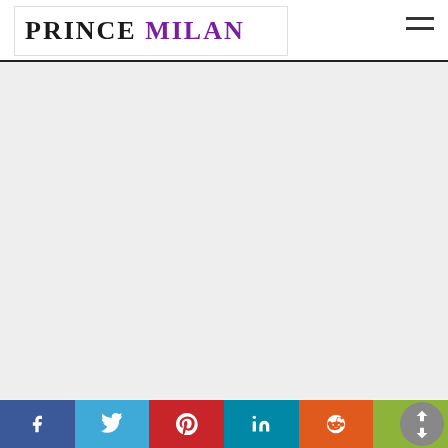PRINCE MILAN
[Figure (other): Large empty gray content area below header]
Social share bar: Facebook, Twitter, Pinterest, LinkedIn, Reddit, Tumblr